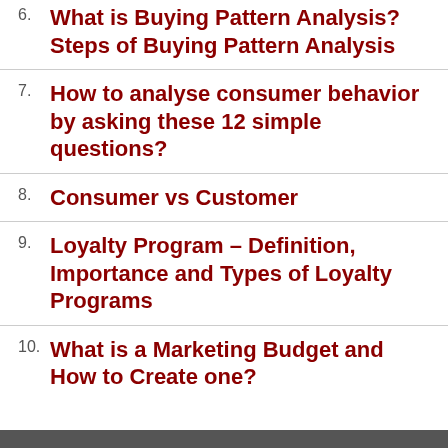6. What is Buying Pattern Analysis? Steps of Buying Pattern Analysis
7. How to analyse consumer behavior by asking these 12 simple questions?
8. Consumer vs Customer
9. Loyalty Program – Definition, Importance and Types of Loyalty Programs
10. What is a Marketing Budget and How to Create one?